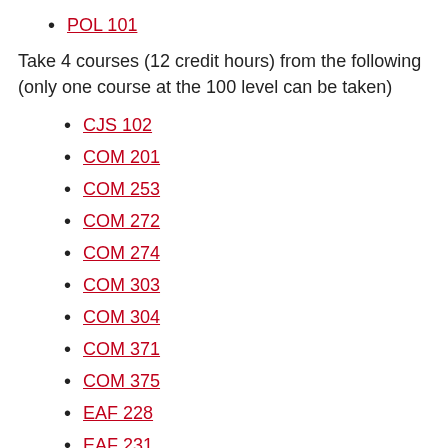POL 101
Take 4 courses (12 credit hours) from the following (only one course at the 100 level can be taken)
CJS 102
COM 201
COM 253
COM 272
COM 274
COM 303
COM 304
COM 371
COM 375
EAF 228
EAF 231
EAF 235
FCS 328